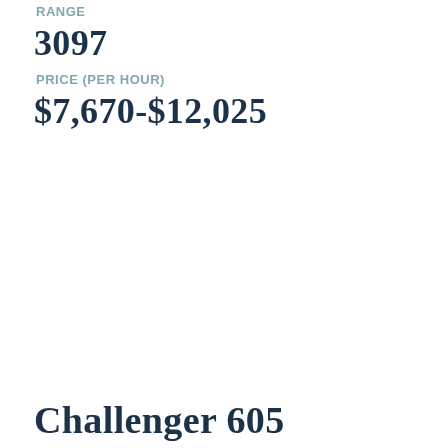RANGE
3097
PRICE (PER HOUR)
$7,670-$12,025
Challenger 605